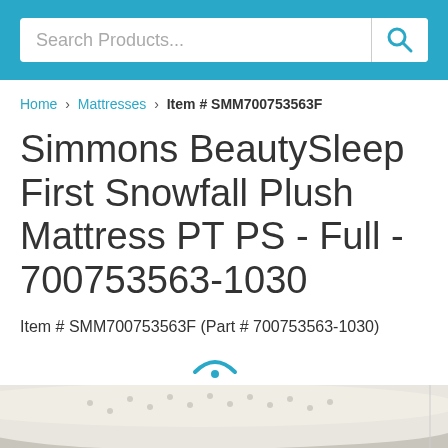Search Products...
Home > Mattresses > Item # SMM700753563F
Simmons BeautySleep First Snowfall Plush Mattress PT PS - Full - 700753563-1030
Item # SMM700753563F (Part # 700753563-1030)
[Figure (photo): Simmons BeautySleep First Snowfall Plush Mattress product photo showing a tufted white mattress from a slightly elevated angle]